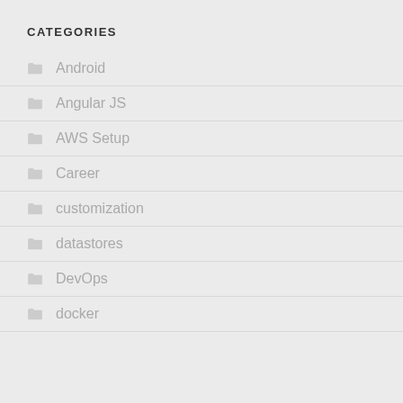CATEGORIES
Android
Angular JS
AWS Setup
Career
customization
datastores
DevOps
docker